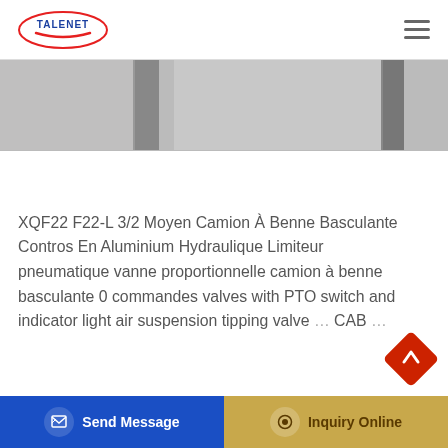TALENET (logo) — navigation header with hamburger menu
[Figure (photo): Horizontal strip showing partial product/vehicle images in grayscale]
XQF22 F22-L 3/2 Moyen Camion À Benne Basculante Contros En Aluminium Hydraulique Limiteur pneumatique vanne proportionnelle camion à benne basculante 0 commandes valves with PTO switch and indicator light air suspension tipping valve … CAB …
[Figure (other): Red diamond-shaped back-to-top arrow button]
[Figure (other): Bottom action bar with Send Message (blue) and Inquiry Online (gold) buttons]